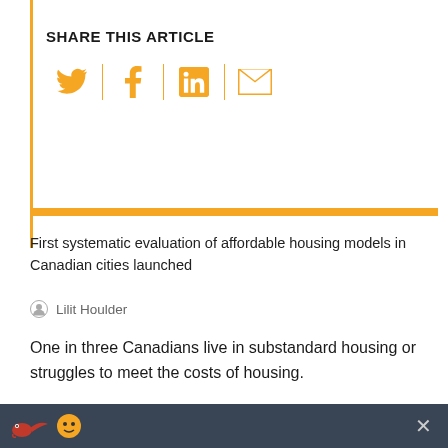SHARE THIS ARTICLE
[Figure (infographic): Social sharing icons: Twitter, Facebook, LinkedIn, Email in orange, separated by vertical orange dividers]
First systematic evaluation of affordable housing models in Canadian cities launched
Lilit Houlder
One in three Canadians live in substandard housing or struggles to meet the costs of housing.
The federal government introduced its first National Housing Strategy in 2017. One year later, the Cities, Policy &